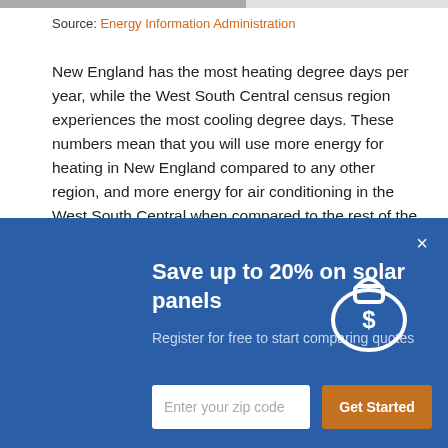Source: Energy Information Administration
New England has the most heating degree days per year, while the West South Central census region experiences the most cooling degree days. These numbers mean that you will use more energy for heating in New England compared to any other region, and more energy for air conditioning in the West South Central when compared to the rest of the
[Figure (infographic): Blue promotional overlay panel with close button (×), heading 'Save up to 20% on solar panels', subtext 'Register for free to start comparing quotes', money bag icon, zip code input field, and 'Get Started' orange button.]